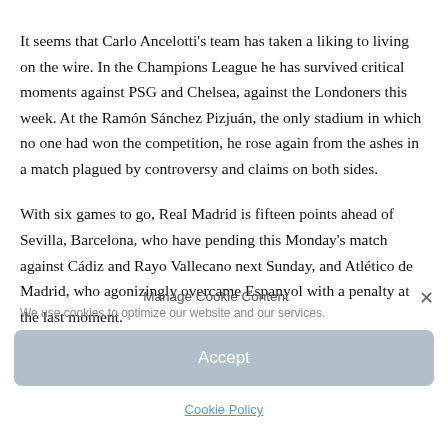It seems that Carlo Ancelotti's team has taken a liking to living on the wire. In the Champions League he has survived critical moments against PSG and Chelsea, against the Londoners this week. At the Ramón Sánchez Pizjuán, the only stadium in which no one had won the competition, he rose again from the ashes in a match plagued by controversy and claims on both sides.
With six games to go, Real Madrid is fifteen points ahead of Sevilla, Barcelona, who have pending this Monday's match against Cádiz and Rayo Vallecano next Sunday, and Atlético de Madrid, who agonizingly overcame Espanyol with a penalty at the last moment.
Manage Cookie Content
We use cookies to optimize our website and our services.
Accept
Cookie Policy